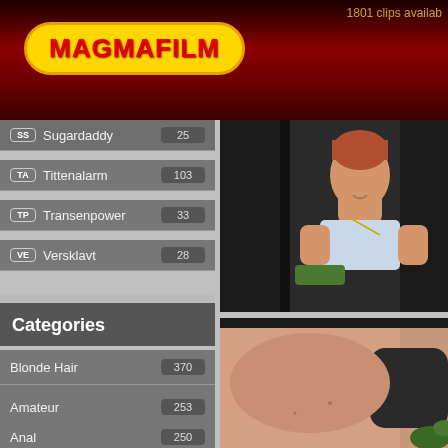1801 clips availab
[Figure (logo): MAGMAFILM logo in yellow oval on dark red gradient background]
SS Sugardaddy 25
TA Tittenalarm 103
TP Transenpower 33
VE Versklavt 28
Categories
Blonde Hair 370
Big Tits 254
Amateur 253
Anal 250
Hetero 216
Small Tits
[Figure (photo): Young woman with short reddish hair wearing light blue bra, smiling, dark background]
[Figure (photo): Close-up intimate scene, two people]